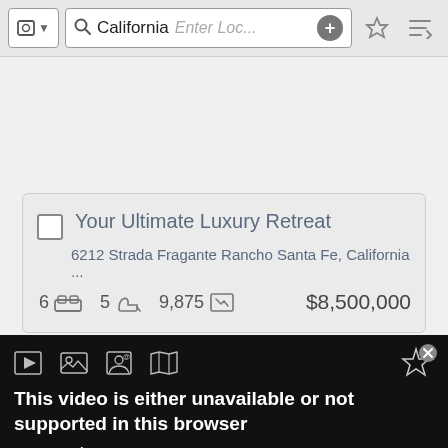[Figure (screenshot): App toolbar with shield/location icon, California search text, Enter Loc... placeholder, plus button, star/favorites button, and sort button]
Your Ultimate Luxury Retreat
6212 Strada Fragante Rancho Santa Fe, California ...
6   5   9,875   $8,500,000
This video is either unavailable or not supported in this browser
Error Code: MEDIA_ERR_SRC_NOT_SUPPORTED
Session ID: 2022-08-19:2fdf4ba7d82bc46ae23f682a Player Element ID: